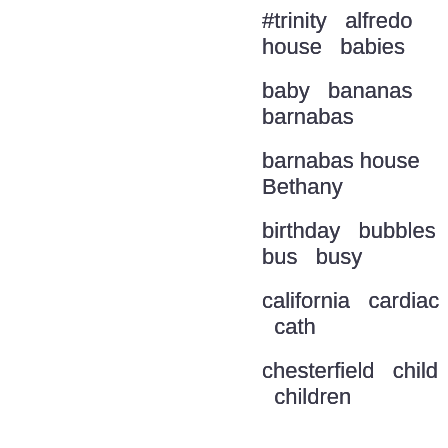#trinity   alfredo house   babies
baby   bananas   barnabas
barnabas house   Bethany
birthday   bubbles   bus   busy
california   cardiac   cath
chesterfield   child   children
clinic   clinics   coffee
communion   communities
community   community health
community; nutrition   cross
dance   Danville   dental
dentist   devotion   dinwiddie
dra moncada
early child development